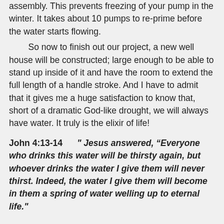assembly.  This prevents freezing of your pump in the winter.  It takes about 10 pumps to re-prime before the water starts flowing.
So now to finish out our project, a new well house will be constructed; large enough to be able to stand up inside of it and have the room to extend the full length of a handle stroke.  And I have to admit that it gives me a huge satisfaction to know that, short of a dramatic God-like drought, we will always have water.  It truly is the elixir of life!
John 4:13-14      " Jesus answered, “Everyone who drinks this water will be thirsty again, but whoever drinks the water I give them will never thirst. Indeed, the water I give them will become in them a spring of water welling up to eternal life."